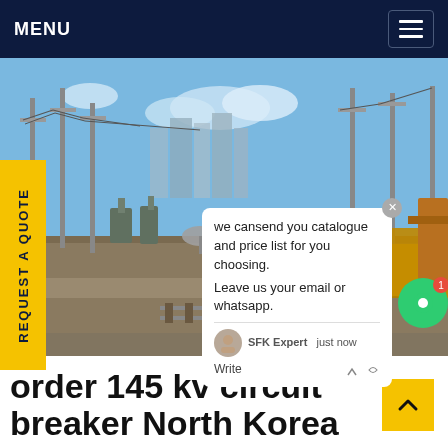MENU
[Figure (photo): Outdoor electrical substation with high-voltage power lines, transformers, and a yellow Isuzu truck on unpaved ground. City buildings visible in background under blue sky. Construction/utility scene with wooden planks in foreground.]
REQUEST A QUOTE
we cansend you catalogue and price list for you choosing.
Leave us your email or whatsapp.
SFK Expert   just now
Write
order 145 kv circuit breaker North Korea